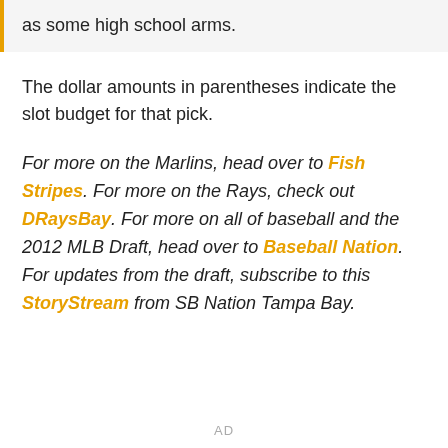as some high school arms.
The dollar amounts in parentheses indicate the slot budget for that pick.
For more on the Marlins, head over to Fish Stripes. For more on the Rays, check out DRaysBay. For more on all of baseball and the 2012 MLB Draft, head over to Baseball Nation. For updates from the draft, subscribe to this StoryStream from SB Nation Tampa Bay.
AD